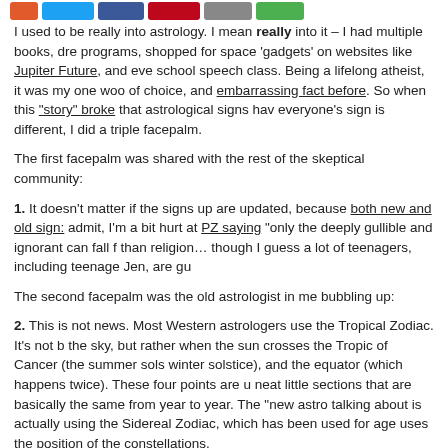[Figure (other): Social media sharing buttons: Twitter (blue), Facebook (dark blue), Pinterest (red), email (gray), green button]
I used to be really into astrology. I mean really into it – I had multiple books, dre programs, shopped for space 'gadgets' on websites like Jupiter Future, and eve school speech class. Being a lifelong atheist, it was my one woo of choice, and embarrassing fact before. So when this "story" broke that astrological signs hav everyone's sign is different, I did a triple facepalm.
The first facepalm was shared with the rest of the skeptical community:
1. It doesn't matter if the signs up are updated, because both new and old sign: admit, I'm a bit hurt at PZ saying "only the deeply gullible and ignorant can fall f than religion… though I guess a lot of teenagers, including teenage Jen, are gu
The second facepalm was the old astrologist in me bubbling up:
2. This is not news. Most Western astrologers use the Tropical Zodiac. It's not b the sky, but rather when the sun crosses the Tropic of Cancer (the summer sols winter solstice), and the equator (which happens twice). These four points are u neat little sections that are basically the same from year to year. The "new astro talking about is actually using the Sidereal Zodiac, which has been used for age uses the position of the constellations.
If you ask an astrologer why they use one and not the other, they'll give a BS a showing certain aspects of your life. I "understood" this ten years ago, so it's ar every news outlet or having a flood of facebook friends babbling about their nev
The third facepalm was aimed at myself: